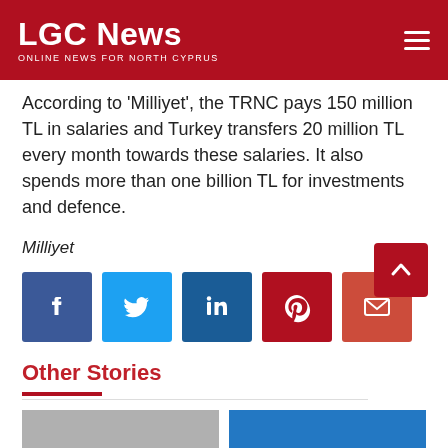LGC News — ONLINE NEWS FOR NORTH CYPRUS
According to ‘Milliyet’, the TRNC pays 150 million TL in salaries and Turkey transfers 20 million TL every month towards these salaries. It also spends more than one billion TL for investments and defence.
Milliyet
[Figure (infographic): Social share buttons row: Facebook, Twitter, LinkedIn, Pinterest, Email]
Other Stories
[Figure (photo): Two thumbnail images at bottom of page]